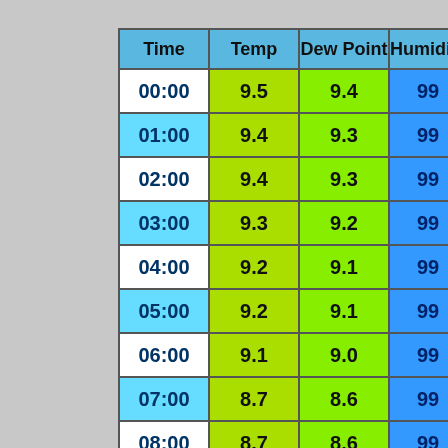| Time | Temp | Dew Point | Humidity | Pressure |
| --- | --- | --- | --- | --- |
| 00:00 | 9.5 | 9.4 | 99 | 1019.2 |
| 01:00 | 9.4 | 9.3 | 99 | 1019.1 |
| 02:00 | 9.4 | 9.3 | 99 | 1019.2 |
| 03:00 | 9.3 | 9.2 | 99 | 1019.1 |
| 04:00 | 9.2 | 9.1 | 99 | 1019.1 |
| 05:00 | 9.2 | 9.1 | 99 | 1019.3 |
| 06:00 | 9.1 | 9.0 | 99 | 1019.4 |
| 07:00 | 8.7 | 8.6 | 99 | 1019.6 |
| 08:00 | 8.7 | 8.6 | 99 | 1019.9 |
| 09:00 | 8.8 | 8.7 | 99 | 1020.1 |